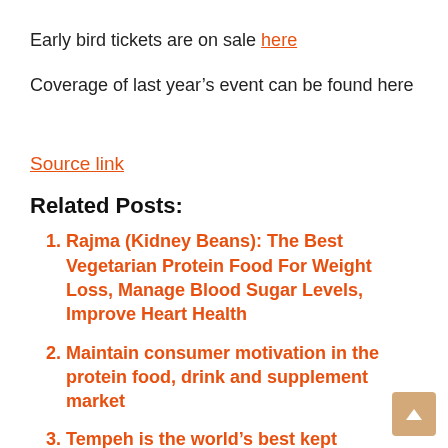Early bird tickets are on sale here
Coverage of last year's event can be found here
Source link
Related Posts:
Rajma (Kidney Beans): The Best Vegetarian Protein Food For Weight Loss, Manage Blood Sugar Levels, Improve Heart Health
Maintain consumer motivation in the protein food, drink and supplement market
Tempeh is the world's best kept